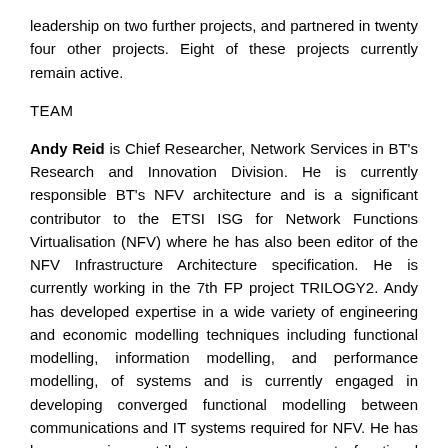leadership on two further projects, and partnered in twenty four other projects. Eight of these projects currently remain active.
TEAM
Andy Reid is Chief Researcher, Network Services in BT's Research and Innovation Division. He is currently responsible BT's NFV architecture and is a significant contributor to the ETSI ISG for Network Functions Virtualisation (NFV) where he has also been editor of the NFV Infrastructure Architecture specification. He is currently working in the 7th FP project TRILOGY2. Andy has developed expertise in a wide variety of engineering and economic modelling techniques including functional modelling, information modelling, and performance modelling, of systems and is currently engaged in developing converged functional modelling between communications and IT systems required for NFV. He has been a major contributor over many years to functional modelling of transport networks starting with the first